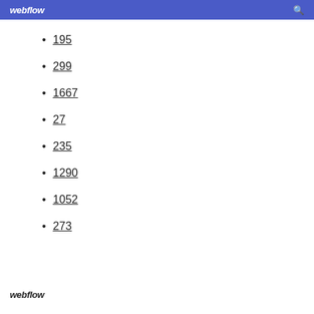webflow
195
299
1667
27
235
1290
1052
273
webflow